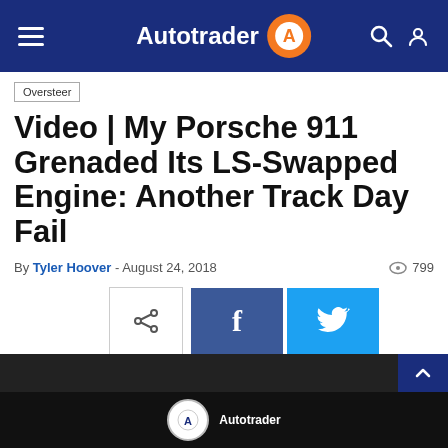Autotrader
Oversteer
Video | My Porsche 911 Grenaded Its LS-Swapped Engine: Another Track Day Fail
By Tyler Hoover - August 24, 2018  799
[Figure (screenshot): Share buttons: generic share icon, Facebook blue button with 'f', Twitter cyan button with bird icon]
1 of 2
[Figure (screenshot): Advertisement banner at bottom with circular logo and text]